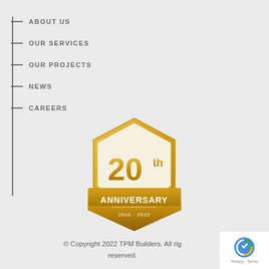ABOUT US
OUR SERVICES
OUR PROJECTS
NEWS
CAREERS
[Figure (logo): 20th Anniversary badge for TPM Builders, 2002-2022, gold hexagonal shield shape with bold text '20th ANNIVERSARY' and dates '2002 - 2022']
© Copyright 2022 TPM Builders. All rights reserved.